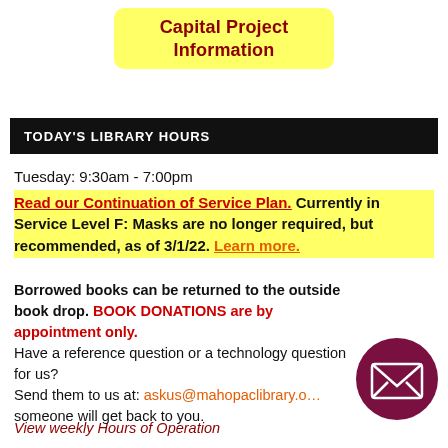Capital Project Information
TODAY'S LIBRARY HOURS
Tuesday: 9:30am - 7:00pm
Read our Continuation of Service Plan. Currently in Service Level F: Masks are no longer required, but recommended, as of 3/1/22. Learn more.
Borrowed books can be returned to the outside book drop. BOOK DONATIONS are by appointment only. Have a reference question or a technology question for us? Send them to us at: askus@mahopaclibrary.org and someone will get back to you.
View weekly Hours of Operation